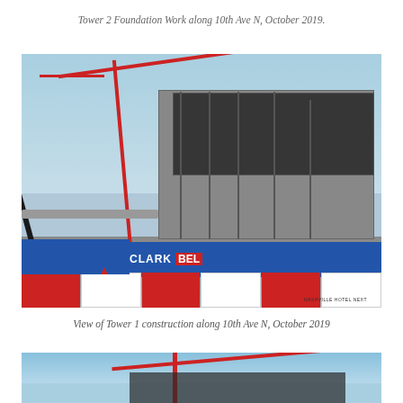Tower 2 Foundation Work along 10th Ave N, October 2019.
[Figure (photo): Construction site photo showing Tower 1 under construction with a red and white crane visible against a blue sky. The building frame is visible with concrete floors and steel columns. A Clark construction sign and red-white barriers are visible at street level. The text 'CLARK BEL' and 'NASHVILLE HOTEL NEXT' appear on signage at the bottom.]
View of Tower 1 construction along 10th Ave N, October 2019
[Figure (photo): Partial view of another construction site photo showing a crane and construction structure at the bottom of the page, cropped.]